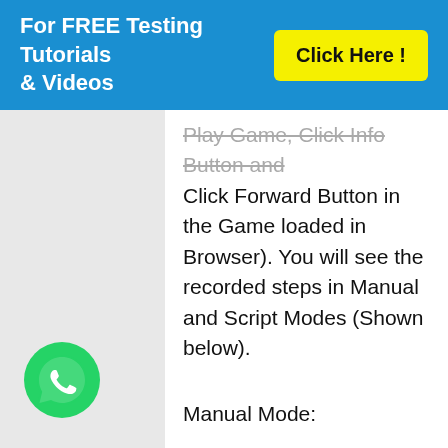For FREE Testing Tutorials & Videos  Click Here !
Play Game, Click Info Button and Click Forward Button in the Game loaded in Browser). You will see the recorded steps in Manual and Script Modes (Shown below).
Manual Mode:
[Figure (logo): WhatsApp icon button (green circle with white phone handset)]